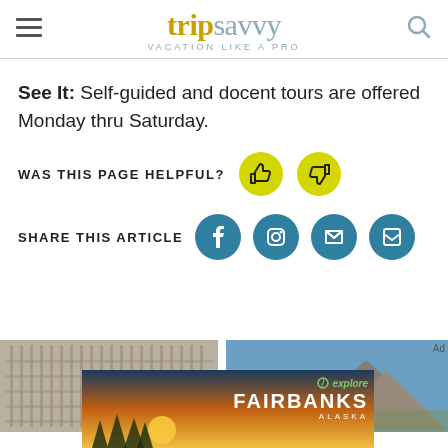tripsavvy VACATION LIKE A PRO
See It: Self-guided and docent tours are offered Monday thru Saturday.
WAS THIS PAGE HELPFUL?
SHARE THIS ARTICLE
[Figure (screenshot): Bottom promotional images including a building facade, mountain scene, and Explore Fairbanks Alaska advertisement]